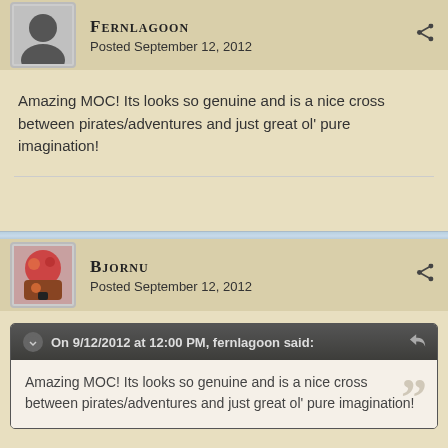FERNLAGOON
Posted September 12, 2012
Amazing MOC! Its looks so genuine and is a nice cross between pirates/adventures and just great ol' pure imagination!
BJORNU
Posted September 12, 2012
On 9/12/2012 at 12:00 PM, fernlagoon said:
Amazing MOC! Its looks so genuine and is a nice cross between pirates/adventures and just great ol' pure imagination!